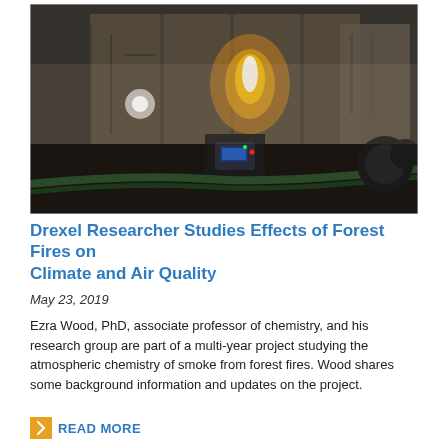[Figure (photo): Indoor photograph of a large industrial facility at night showing equipment, machinery with a bright fire/flame visible in the background and smoky atmosphere. Scientific instruments visible in the foreground.]
Drexel Researcher Studies Effects of Forest Fires on Climate and Air Quality
May 23, 2019
Ezra Wood, PhD, associate professor of chemistry, and his research group are part of a multi-year project studying the atmospheric chemistry of smoke from forest fires. Wood shares some background information and updates on the project.
READ MORE